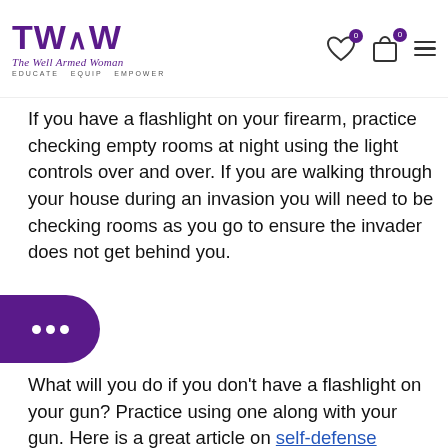The Well Armed Woman — EDUCATE EQUIP EMPOWER
If you have a flashlight on your firearm, practice checking empty rooms at night using the light controls over and over. If you are walking through your house during an invasion you will need to be checking rooms as you go to ensure the invader does not get behind you.
What will you do if you don't have a flashlight on your gun? Practice using one along with your gun. Here is a great article on self-defense flashlights.
[Figure (photo): Dark room scene showing a flashlight beam, with a US LawShield advertisement banner overlay at the bottom reading: Smart women don't travel alone. They carry U.S. LawShield®. LEARN MORE]